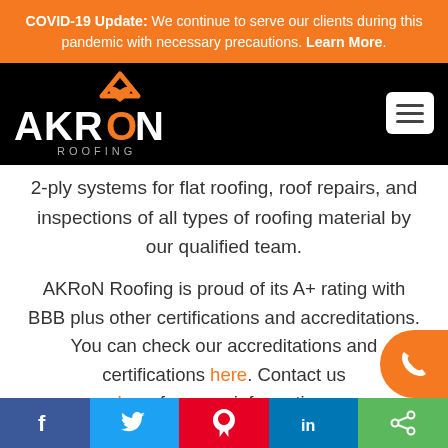COVID-19 Update: We continue to serve our clients during this pandemic with necessary precautions. Learn More.
[Figure (logo): AKRoN Roofing logo — white text on black background with orange house/heart icon]
2-ply systems for flat roofing, roof repairs, and inspections of all types of roofing material by our qualified team.
AKRoN Roofing is proud of its A+ rating with BBB plus other certifications and accreditations. You can check our accreditations and certifications here. Contact us here for more information.
f  [Twitter]  [Pinterest]  in  [Share]